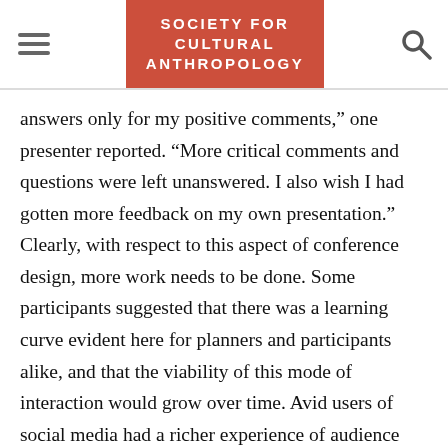SOCIETY FOR CULTURAL ANTHROPOLOGY
answers only for my positive comments,” one presenter reported. “More critical comments and questions were left unanswered. I also wish I had gotten more feedback on my own presentation.” Clearly, with respect to this aspect of conference design, more work needs to be done. Some participants suggested that there was a learning curve evident here for planners and participants alike, and that the viability of this mode of interaction would grow over time. Avid users of social media had a richer experience of audience response, as did those who had the chance to screen their work at conference nodes in their own localities.